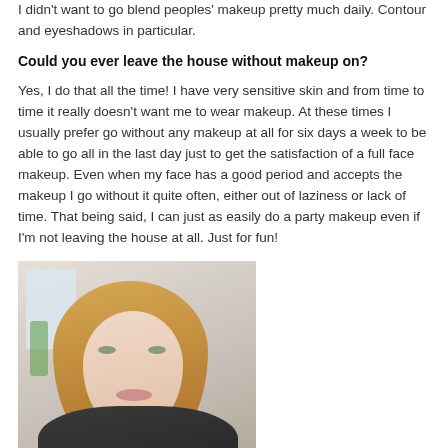I didn't want to go blend peoples' makeup pretty much daily. Contour and eyeshadows in particular.
Could you ever leave the house without makeup on?
Yes, I do that all the time! I have very sensitive skin and from time to time it really doesn't want me to wear makeup. At these times I usually prefer go without any makeup at all for six days a week to be able to go all in the last day just to get the satisfaction of a full face makeup. Even when my face has a good period and accepts the makeup I go without it quite often, either out of laziness or lack of time. That being said, I can just as easily do a party makeup even if I'm not leaving the house at all. Just for fun!
[Figure (photo): Portrait photo of a young blonde woman with shoulder-length hair, looking at the camera with a neutral expression. She appears to be indoors with a light background.]